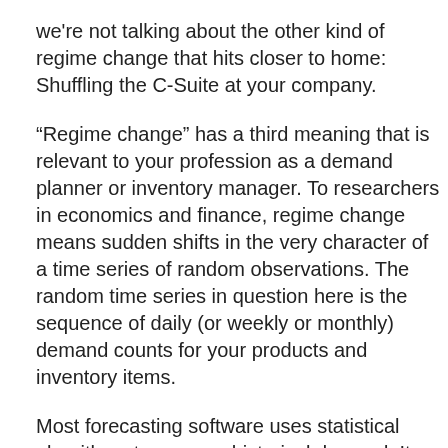we're not talking about the other kind of regime change that hits closer to home: Shuffling the C-Suite at your company.
“Regime change” has a third meaning that is relevant to your profession as a demand planner or inventory manager. To researchers in economics and finance, regime change means sudden shifts in the very character of a time series of random observations. The random time series in question here is the sequence of daily (or weekly or monthly) demand counts for your products and inventory items.
Most forecasting software uses statistical algorithms to process historical demand. It may add additional steps, such as incorporating field intelligence from sales people, but everything starts with the demand history of whatever item you must manage.
The question raised by regime change is, which data